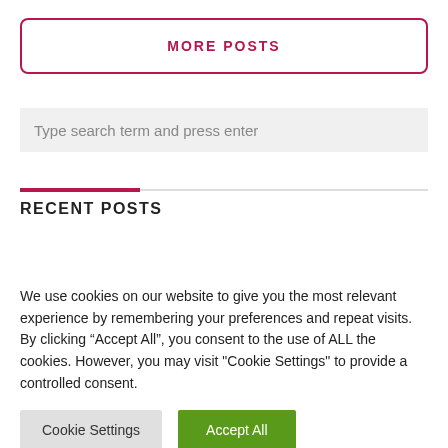MORE POSTS
Type search term and press enter
RECENT POSTS
We use cookies on our website to give you the most relevant experience by remembering your preferences and repeat visits. By clicking “Accept All”, you consent to the use of ALL the cookies. However, you may visit “Cookie Settings” to provide a controlled consent.
Cookie Settings
Accept All